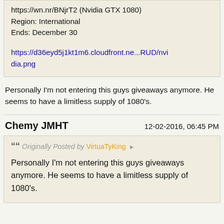https://wn.nr/BNjrT2 (Nvidia GTX 1080)
Region: International
Ends: December 30

https://d36eyd5j1kt1m6.cloudfront.ne...RUD/nvidia.png
Personally I'm not entering this guys giveaways anymore. He seems to have a limitless supply of 1080's.
Chemy JMHT
12-02-2016, 06:45 PM
Originally Posted by VirtuaTyKing
Personally I'm not entering this guys giveaways anymore. He seems to have a limitless supply of 1080's.